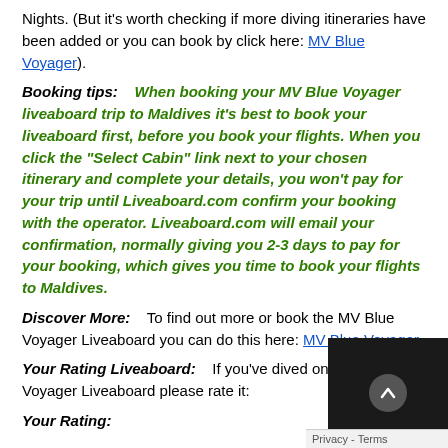Nights. (But it's worth checking if more diving itineraries have been added or you can book by click here: MV Blue Voyager).
Booking tips:    When booking your MV Blue Voyager liveaboard trip to Maldives it's best to book your liveaboard first, before you book your flights. When you click the "Select Cabin" link next to your chosen itinerary and complete your details, you won't pay for your trip until Liveaboard.com confirm your booking with the operator. Liveaboard.com will email your confirmation, normally giving you 2-3 days to pay for your booking, which gives you time to book your flights to Maldives.
Discover More:    To find out more or book the MV Blue Voyager Liveaboard you can do this here: MV Blue Voyager
Your Rating Liveaboard:    If you've dived on the MV Blue Voyager Liveaboard please rate it:
Your Rating: